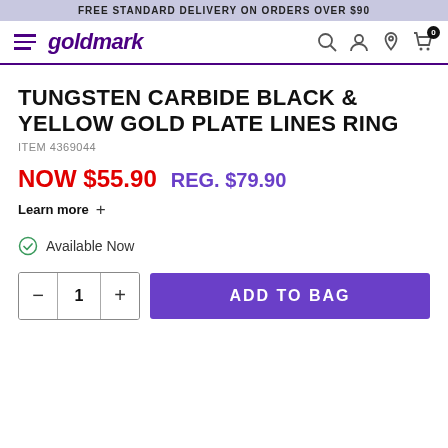FREE STANDARD DELIVERY ON ORDERS OVER $90
[Figure (logo): Goldmark logo with hamburger menu and navigation icons (search, account, store locator, cart with badge 0)]
TUNGSTEN CARBIDE BLACK & YELLOW GOLD PLATE LINES RING
ITEM 4369044
NOW $55.90   REG. $79.90
Learn more +
Available Now
1  ADD TO BAG